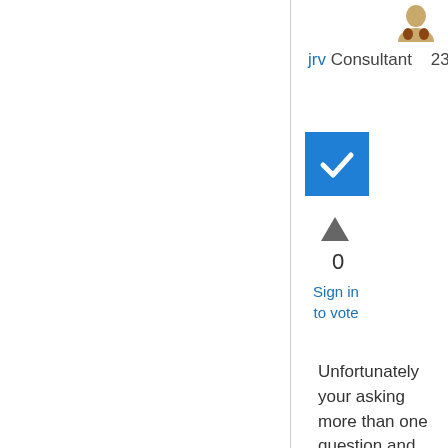jrv Consultant   239,063 Points
[Figure (illustration): Blue checkbox with white checkmark icon]
[Figure (illustration): Upward pointing triangle arrow for upvoting]
0
Sign in to vote
Unfortunately your asking more than one question and your outcome is not clear.  The answers to your questions lie in understanding how Json is converted into objects and how PowerShell works with objects.  For each complex Json object you will have to understand the object then apply what you know about PowerShell to "convert" it into tables.  My example shows